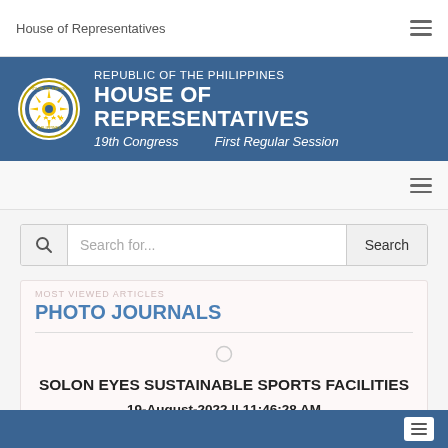House of Representatives
[Figure (logo): Republic of the Philippines House of Representatives header banner with circular seal logo, text: REPUBLIC OF THE PHILIPPINES, HOUSE OF REPRESENTATIVES, 19th Congress, First Regular Session]
Search for...
PHOTO JOURNALS
SOLON EYES SUSTAINABLE SPORTS FACILITIES
19-August-2022 || 11:46:28 AM
PRESS RELEASES